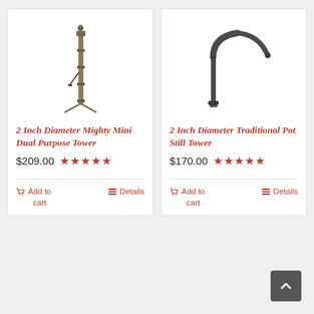[Figure (photo): 2 Inch Diameter Mighty Mini Dual Purpose Tower product image - tall thin metal column distillation tower]
2 Inch Diameter Mighty Mini Dual Purpose Tower
$209.00 ★★★★★
Add to cart  Details
[Figure (photo): 2 Inch Diameter Traditional Pot Still Tower product image - curved metal pipe arm]
2 Inch Diameter Traditional Pot Still Tower
$170.00 ★★★★★
Add to cart  Details